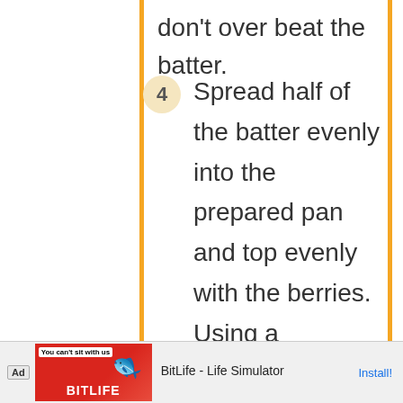don't over beat the batter.
4  Spread half of the batter evenly into the prepared pan and top evenly with the berries. Using a tablespoon, scoop the remaining batter and deposit dollops of the batter all over the fruit. Do not spread the batter out, you want some of the fruit to poke through. Sprinkle with almond streusel topping
[Figure (other): Ad banner for BitLife - Life Simulator app with red background and BitLife logo]